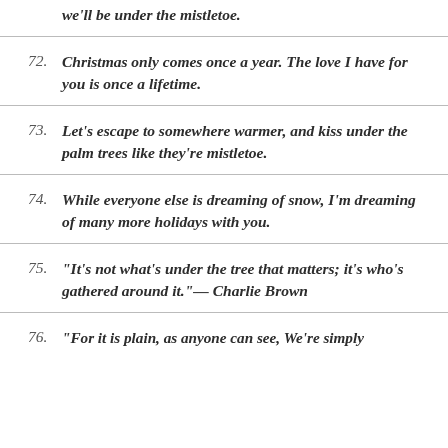we'll be under the mistletoe.
72. Christmas only comes once a year. The love I have for you is once a lifetime.
73. Let's escape to somewhere warmer, and kiss under the palm trees like they're mistletoe.
74. While everyone else is dreaming of snow, I'm dreaming of many more holidays with you.
75. "It's not what's under the tree that matters; it's who's gathered around it."— Charlie Brown
76. "For it is plain, as anyone can see, We're simply...